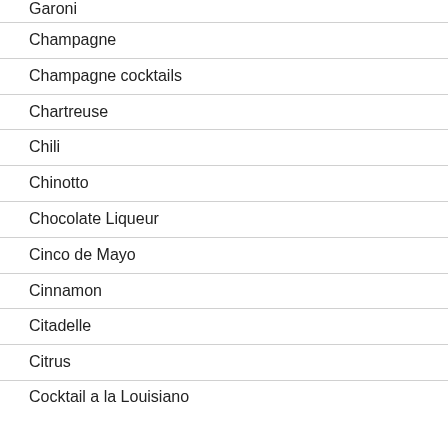Garoni
Champagne
Champagne cocktails
Chartreuse
Chili
Chinotto
Chocolate Liqueur
Cinco de Mayo
Cinnamon
Citadelle
Citrus
Cocktail a la Louisiano